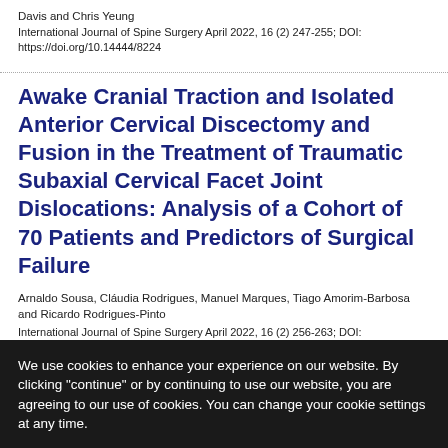Davis and Chris Yeung
International Journal of Spine Surgery April 2022, 16 (2) 247-255; DOI: https://doi.org/10.14444/8224
Awake Cranial Traction and Isolated Anterior Cervical Discectomy and Fusion in the Treatment of Traumatic Subaxial Cervical Facet Joint Dislocations: Analysis of a Cohort of 70 Patients and Predictors of Surgical Failure
Arnaldo Sousa, Cláudia Rodrigues, Manuel Marques, Tiago Amorim-Barbosa and Ricardo Rodrigues-Pinto
International Journal of Spine Surgery April 2022, 16 (2) 256-263; DOI: https://doi.org/10.14444/8208
We use cookies to enhance your experience on our website. By clicking "continue" or by continuing to use our website, you are agreeing to our use of cookies. You can change your cookie settings at any time.